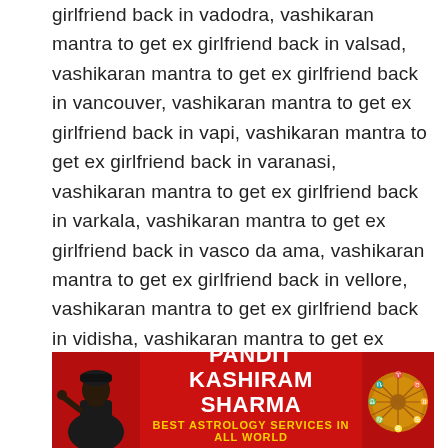girlfriend back in vadodra, vashikaran mantra to get ex girlfriend back in valsad, vashikaran mantra to get ex girlfriend back in vancouver, vashikaran mantra to get ex girlfriend back in vapi, vashikaran mantra to get ex girlfriend back in varanasi, vashikaran mantra to get ex girlfriend back in varkala, vashikaran mantra to get ex girlfriend back in vasco da ama, vashikaran mantra to get ex girlfriend back in vellore, vashikaran mantra to get ex girlfriend back in vidisha, vashikaran mantra to get ex girlfriend back in vijayawada, vashikaran mantra to get ex girlfriend back in vishakhapatnam, vashikaran mantra to get ex girlfriend back in vizianagaram, vashikaran mantra to get ex girlfriend back in vrindavan, vashikaran mantra to get ex girlfriend back in washim, vashikaran mantra to get ex girlfriend back in yamunanagar, vashikaran mantra to get ex girlfriend back in yelahanka      leave a comment
[Figure (illustration): Red banner advertisement for Pandit Kashiram Sharma - Best Astrology Services In All World, with a dark silhouette of an astrologer on the left and zodiac wheel on the right]